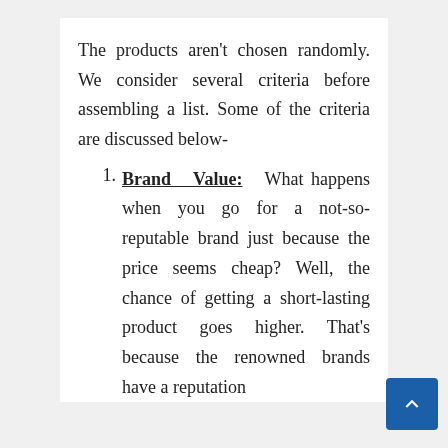The products aren't chosen randomly. We consider several criteria before assembling a list. Some of the criteria are discussed below-
Brand Value: What happens when you go for a not-so-reputable brand just because the price seems cheap? Well, the chance of getting a short-lasting product goes higher. That's because the renowned brands have a reputation